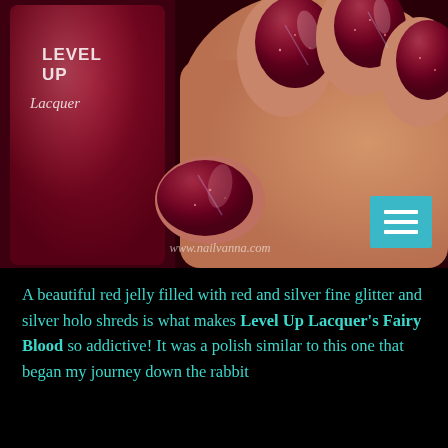[Figure (photo): Close-up photo of a hand with dark red/burgundy glittery nail polish (Level Up Lacquer Fairy Blood), with a nail polish bottle visible on the left showing the Level Up Lacquer logo. A teal hamburger menu icon is visible in the lower right of the photo. Website watermark 'www.nailvanna.com' is visible.]
A beautiful red jelly filled with red and silver fine glitter and silver holo shreds is what makes Level Up Lacquer's Fairy Blood so addictive! It was a polish similar to this one that began my journey down the rabbit